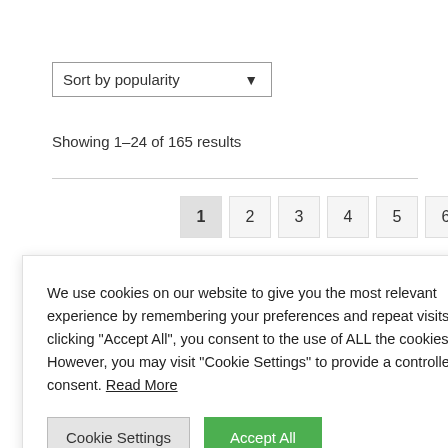[Figure (screenshot): Sort by popularity dropdown selector with chevron arrow]
Showing 1–24 of 165 results
[Figure (screenshot): Pagination bar showing pages 1 through 7 with a forward arrow]
We use cookies on our website to give you the most relevant experience by remembering your preferences and repeat visits. By clicking "Accept All", you consent to the use of ALL the cookies. However, you may visit "Cookie Settings" to provide a controlled consent. Read More
[Figure (screenshot): Cookie consent dialog with Cookie Settings and Accept All buttons]